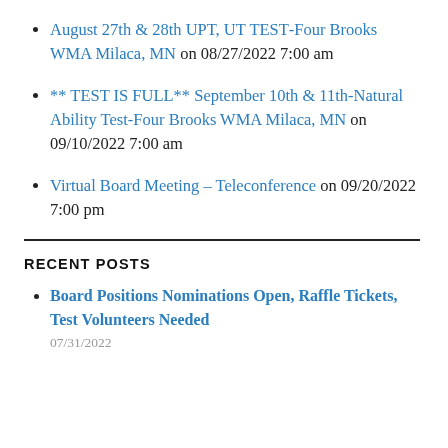August 27th & 28th UPT, UT TEST-Four Brooks WMA Milaca, MN on 08/27/2022 7:00 am
** TEST IS FULL** September 10th & 11th-Natural Ability Test-Four Brooks WMA Milaca, MN on 09/10/2022 7:00 am
Virtual Board Meeting – Teleconference on 09/20/2022 7:00 pm
RECENT POSTS
Board Positions Nominations Open, Raffle Tickets, Test Volunteers Needed
07/31/2022